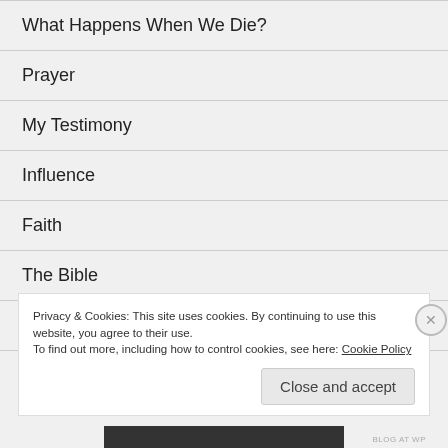What Happens When We Die?
Prayer
My Testimony
Influence
Faith
The Bible
The Holy Spirit
Privacy & Cookies: This site uses cookies. By continuing to use this website, you agree to their use.
To find out more, including how to control cookies, see here: Cookie Policy
Close and accept